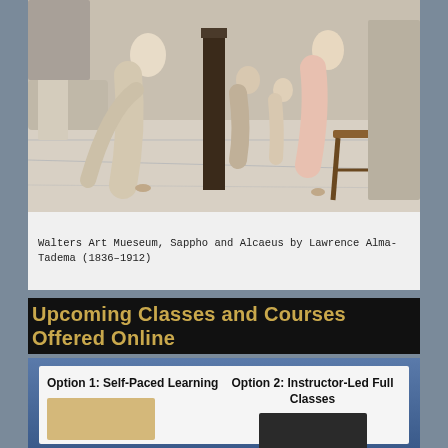[Figure (photo): Painting of classical figures in a Greek/Roman setting — Sappho and Alcaeus by Lawrence Alma-Tadema. Several robed figures seated on marble steps and chairs.]
Walters Art Mueseum, Sappho and Alcaeus by Lawrence Alma-Tadema (1836–1912)
Upcoming Classes and Courses Offered Online
Option 1: Self-Paced Learning
Option 2: Instructor-Led Full Classes
[Figure (photo): Thumbnail image for self-paced learning option showing a student studying]
[Figure (photo): Thumbnail image for instructor-led classes option showing a video/screen]